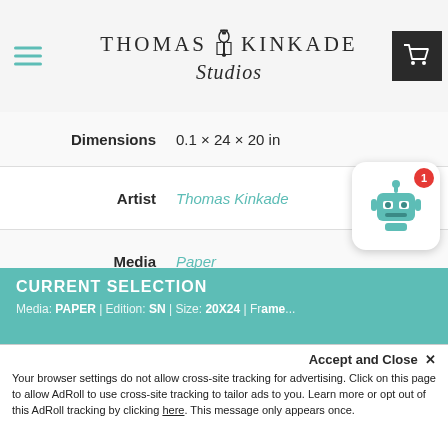Thomas Kinkade Studios
| Field | Value |
| --- | --- |
| Dimensions | 0.1 × 24 × 20 in |
| Artist | Thomas Kinkade |
| Media | Paper |
| Media Type | Paper |
| Edition | SN, AP, GP, PP |
| Size | 20" x 24" |
|  | Unframed – Limited |
CURRENT SELECTION
Media: PAPER | Edition: SN | Size: 20X24 | Frame...
Accept and Close ×
Your browser settings do not allow cross-site tracking for advertising. Click on this page to allow AdRoll to use cross-site tracking to tailor ads to you. Learn more or opt out of this AdRoll tracking by clicking here. This message only appears once.